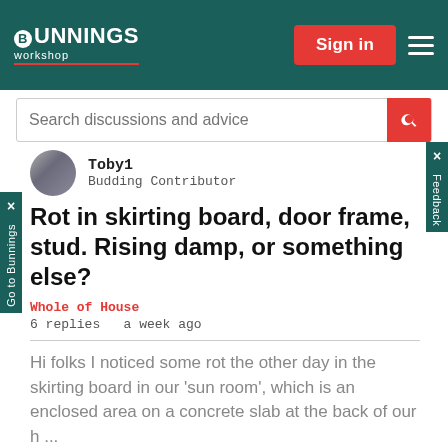[Figure (screenshot): Bunnings Workshop website header with logo, Sign in button, and hamburger menu on dark teal background]
[Figure (screenshot): Search bar with placeholder text 'Search discussions and advice' and red search icon]
Toby1
Budding Contributor
Rot in skirting board, door frame, stud. Rising damp, or something else?
Whole of House
6 replies   a week ago
Hi folks I noticed some rot the other day in the skirting board in our 'sun room', which is an enclosed area on a concrete slab at the back of our h ...
[Figure (photo): Photo showing wall and door frame area with visible rot/damage on the lower part of the door frame or skirting board area. Left side shows plain wall, right side shows door frame with brown rot damage visible.]